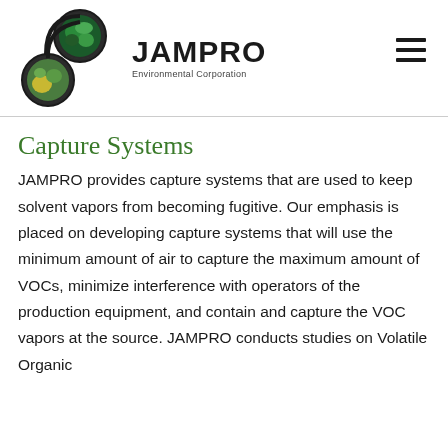[Figure (logo): JAMPRO Environmental Corporation logo with two overlapping circles containing earth/nature imagery and a musical note-like curved connector, beside bold text 'JAMPRO' and subtitle 'Environmental Corporation']
Capture Systems
JAMPRO provides capture systems that are used to keep solvent vapors from becoming fugitive. Our emphasis is placed on developing capture systems that will use the minimum amount of air to capture the maximum amount of VOCs, minimize interference with operators of the production equipment, and contain and capture the VOC vapors at the source. JAMPRO conducts studies on Volatile Organic